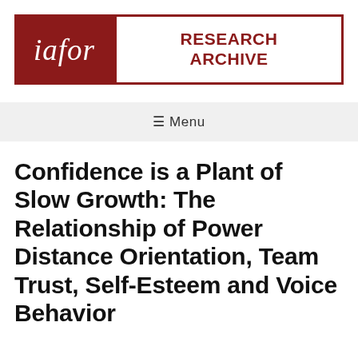[Figure (logo): IAFOR Research Archive logo: dark red background with 'iafor' in white italic serif font on the left, and 'RESEARCH ARCHIVE' in dark red bold text on white background on the right, bordered by dark red outline.]
☰ Menu
Confidence is a Plant of Slow Growth: The Relationship of Power Distance Orientation, Team Trust, Self-Esteem and Voice Behavior